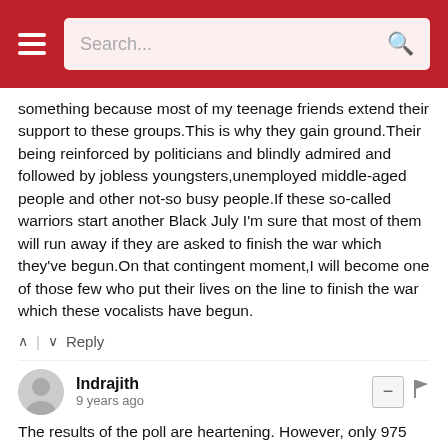Search...
something because most of my teenage friends extend their support to these groups.This is why they gain ground.Their being reinforced by politicians and blindly admired and followed by jobless youngsters,unemployed middle-aged people and other not-so busy people.If these so-called warriors start another Black July I'm sure that most of them will run away if they are asked to finish the war which they've begun.On that contingent moment,I will become one of those few who put their lives on the line to finish the war which these vocalists have begun.
Reply
Indrajith
9 years ago
The results of the poll are heartening. However, only 975 responded, and even they do not seem to be a a properly representative group. I mean that when you have this sort of poll, those who know about it tend to canvas friends to be "responders". Clearly seen in response to query on Halal